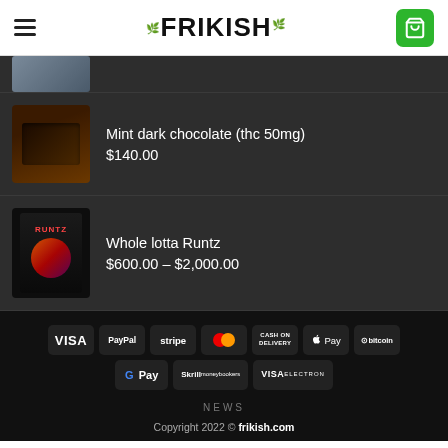FRIKISH
(partial product row — clipped)
Mint dark chocolate (thc 50mg)
$140.00
Whole lotta Runtz
$600.00 – $2,000.00
[Figure (infographic): Payment method badges: VISA, PayPal, stripe, MasterCard, CASH ON DELIVERY, Apple Pay, bitcoin, G Pay, Skrill moneybookers, VISA ELECTRON]
NEWS
Copyright 2022 © frikish.com